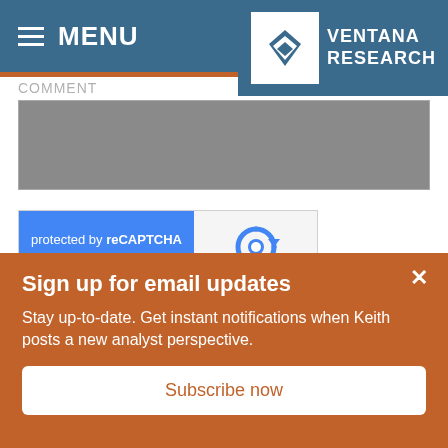≡ MENU
[Figure (logo): Ventana Research logo — white V symbol in a box with 'VENTANA RESEARCH' text]
COMMENT
[Figure (screenshot): Gray textarea input box for comment entry]
[Figure (screenshot): reCAPTCHA widget: blue left panel with 'protected by reCAPTCHA' and 'Privacy · Terms', right panel with reCAPTCHA logo]
Submit Comment
Sign up for email updates
Stay up-to-date. Get instant notifications when Keith posts a new analyst perspective.
Subscribe now